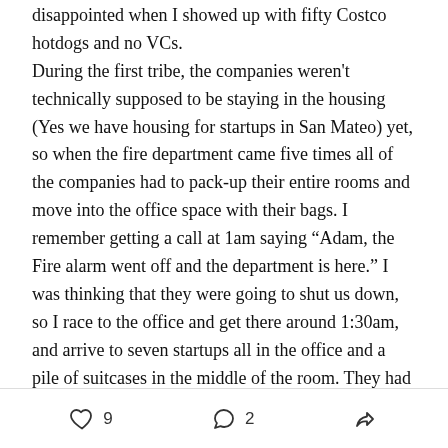disappointed when I showed up with fifty Costco hotdogs and no VCs.

During the first tribe, the companies weren't technically supposed to be staying in the housing (Yes we have housing for startups in San Mateo) yet, so when the fire department came five times all of the companies had to pack-up their entire rooms and move into the office space with their bags. I remember getting a call at 1am saying “Adam, the Fire alarm went off and the department is here.” I was thinking that they were going to shut us down, so I race to the office and get there around 1:30am, and arrive to seven startups all in the office and a pile of suitcases in the middle of the room. They had gotten so good at packing
9  2